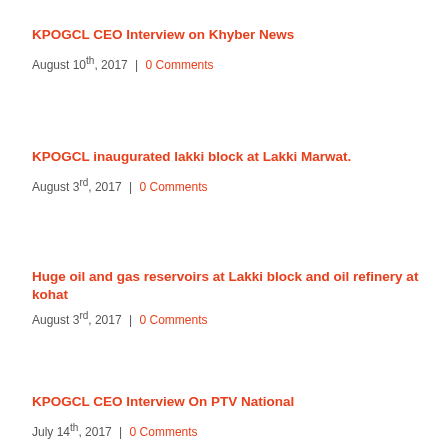KPOGCL CEO Interview on Khyber News
August 10th, 2017 | 0 Comments
KPOGCL inaugurated lakki block at Lakki Marwat.
August 3rd, 2017 | 0 Comments
Huge oil and gas reservoirs at Lakki block and oil refinery at kohat
August 3rd, 2017 | 0 Comments
KPOGCL CEO Interview On PTV National
July 14th, 2017 | 0 Comments